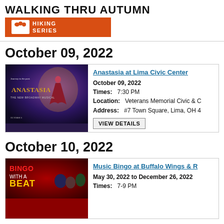[Figure (logo): Walking Thru Autumn Hiking Series logo with orange banner]
October 09, 2022
[Figure (photo): Anastasia the New Broadway Musical promotional poster]
Anastasia at Lima Civic Center
October 09, 2022
Times: 7:30 PM
Location: Veterans Memorial Civic & C
Address: #7 Town Square, Lima, OH 4
VIEW DETAILS
October 10, 2022
[Figure (photo): Bingo With a Beat promotional image]
Music Bingo at Buffalo Wings &
May 30, 2022 to December 26, 2022
Times: 7-9 PM